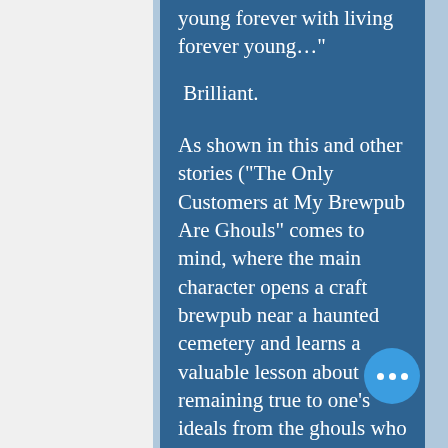young forever with living forever young…"

 Brilliant.

As shown in this and other stories ("The Only Customers at My Brewpub Are Ghouls" comes to mind, where the main character opens a craft brewpub near a haunted cemetery and learns a valuable lesson about remaining true to one's ideals from the ghouls who frequent it), Moffatt has an uncanny ability to distill big ideas into simple and short narratives. His fiction has elements of Rivka Galchen's and Ottessa Moshfegh's works.